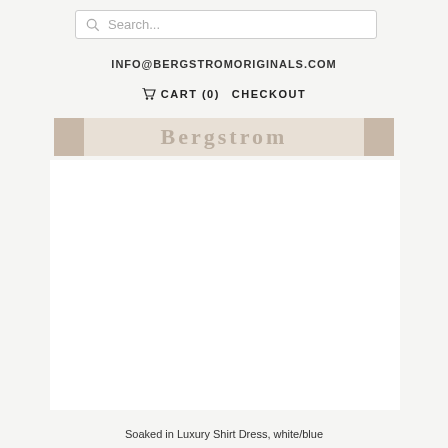Search...
INFO@BERGSTROMORIGINALS.COM
CART (0)   CHECKOUT
[Figure (logo): Bergstrom Originals logo banner, partially visible/faded with decorative blocks on left and right]
[Figure (photo): Product photo area showing a white/blue shirt dress (Soaked in Luxury Shirt Dress), mostly white/blank in this cropped view]
Soaked in Luxury Shirt Dress, white/blue